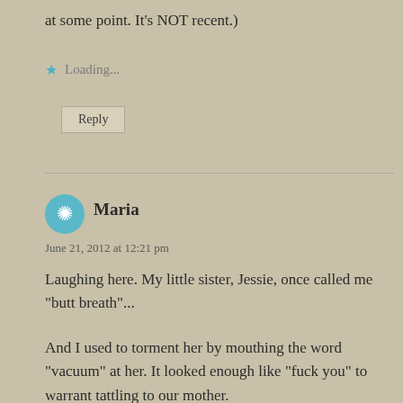at some point. It's NOT recent.)
★ Loading...
Reply
Maria
June 21, 2012 at 12:21 pm
Laughing here. My little sister, Jessie, once called me "butt breath"...
And I used to torment her by mouthing the word "vacuum" at her. It looked enough like "fuck you" to warrant tattling to our mother.